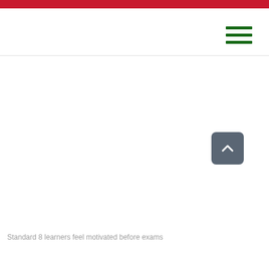[Figure (other): Hamburger menu icon with three dark green horizontal bars]
[Figure (other): Back to top button: dark gray rounded square with white chevron/caret pointing upward]
Standard 8 learners feel motivated before exams